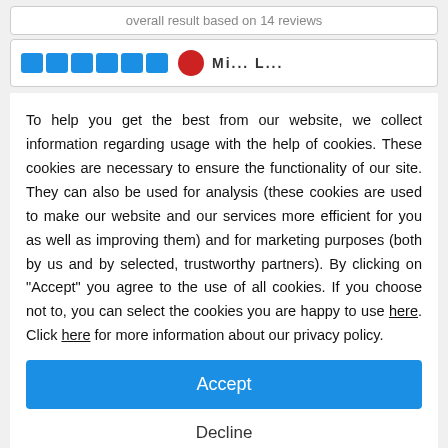overall result based on 14 reviews
[Figure (screenshot): Partial review card showing blue star rating icons and a red user avatar circle with partial name text]
To help you get the best from our website, we collect information regarding usage with the help of cookies. These cookies are necessary to ensure the functionality of our site. They can also be used for analysis (these cookies are used to make our website and our services more efficient for you as well as improving them) and for marketing purposes (both by us and by selected, trustworthy partners). By clicking on "Accept" you agree to the use of all cookies. If you choose not to, you can select the cookies you are happy to use here. Click here for more information about our privacy policy.
Accept
Decline
Configure